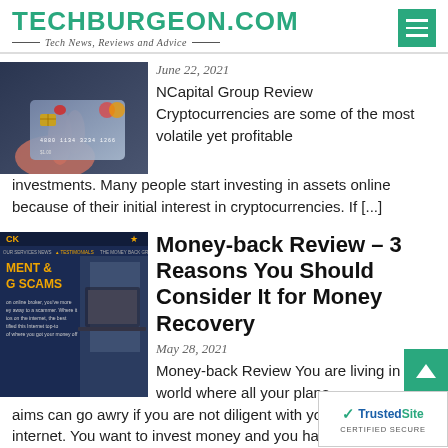TECHBURGEON.COM — Tech News, Reviews and Advice
[Figure (photo): Hand holding a credit/debit card against a dark background]
June 22, 2021
NCapital Group Review Cryptocurrencies are some of the most volatile yet profitable investments. Many people start investing in assets online because of their initial interest in cryptocurrencies. If [...]
[Figure (screenshot): Screenshot of Money-back website showing 'MENT & G SCAMS' text on dark blue background]
Money-back Review – 3 Reasons You Should Consider It for Money Recovery
May 28, 2021
Money-back Review You are living in a world where all your plans aims can go awry if you are not diligent with your m... the internet. You want to invest money and you ha...